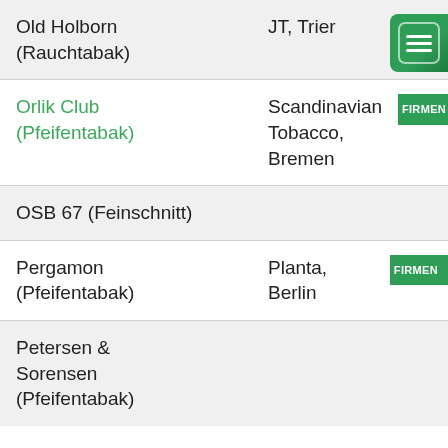| Produkt | Hersteller |  |
| --- | --- | --- |
| Old Holborn (Rauchtabak) | JT, Trier |  |
| Orlik Club (Pfeifentabak) | Scandinavian Tobacco, Bremen | FIRMEN |
| OSB 67 (Feinschnitt) |  |  |
| Pergamon (Pfeifentabak) | Planta, Berlin | FIRMEN |
| Petersen & Sorensen (Pfeifentabak) |  |  |